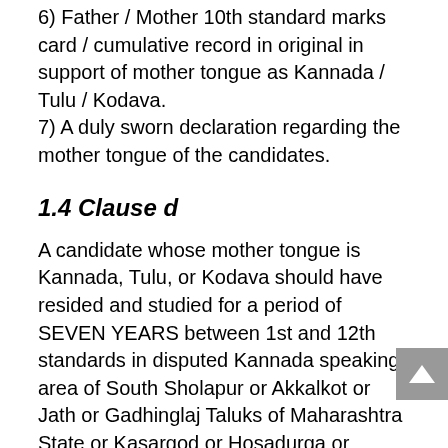6) Father / Mother 10th standard marks card / cumulative record in original in support of mother tongue as Kannada / Tulu / Kodava.
7) A duly sworn declaration regarding the mother tongue of the candidates.
1.4 Clause d
A candidate whose mother tongue is Kannada, Tulu, or Kodava should have resided and studied for a period of SEVEN YEARS between 1st and 12th standards in disputed Kannada speaking area of South Sholapur or Akkalkot or Jath or Gadhinglaj Taluks of Maharashtra State or Kasargod or Hosadurga or Manjeshwar Taluks of Kerala State. Provided that the candidate shall undergo a Kannada Language test conducted by KEA.